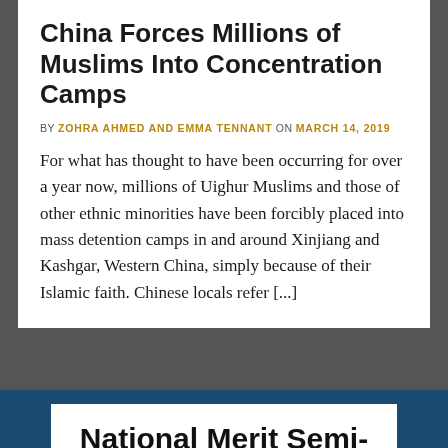China Forces Millions of Muslims Into Concentration Camps
BY ZOHRA AHMED AND EMMA TENNANT ON MARCH 14, 2019
For what has thought to have been occurring for over a year now, millions of Uighur Muslims and those of other ethnic minorities have been forcibly placed into mass detention camps in and around Xinjiang and Kashgar, Western China, simply because of their Islamic faith. Chinese locals refer [...]
National Merit Semi-Finalists 2019